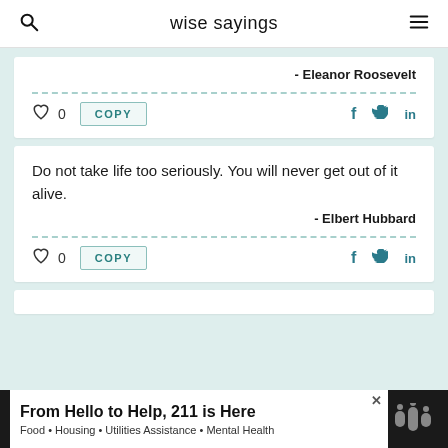wise sayings
- Eleanor Roosevelt
0 COPY
Do not take life too seriously. You will never get out of it alive.
- Elbert Hubbard
0 COPY
From Hello to Help, 211 is Here
Food • Housing • Utilities Assistance • Mental Health